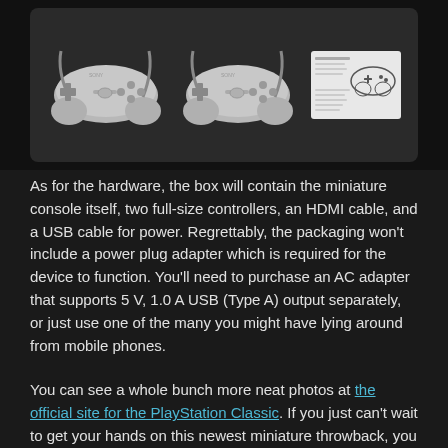[Figure (photo): Two gray Sony PlayStation classic controllers side by side, and a product manual/card to the right, all on a dark background inside a rounded rectangle container]
As for the hardware, the box will contain the miniature console itself, two full-size controllers, an HDMI cable, and a USB cable for power. Regrettably, the packaging won't include a power plug adapter which is required for the device to function. You'll need to purchase an AC adapter that supports 5 V, 1.0 A USB (Type A) output separately, or just use one of the many you might have lying around from mobile phones.
You can see a whole bunch more neat photos at the official site for the PlayStation Classic. If you just can't wait to get your hands on this newest miniature throwback, you won't have to wait long. It will be available for purchase at select retailers on the historic date of December 3, 2018 - the same day that the